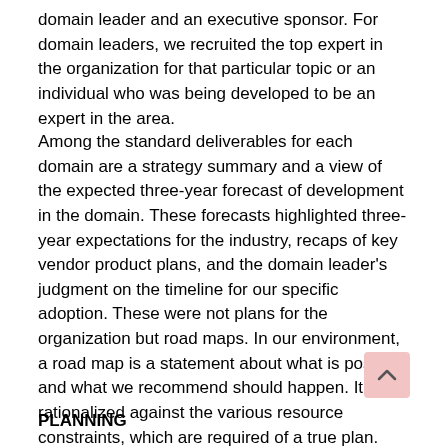domain leader and an executive sponsor. For domain leaders, we recruited the top expert in the organization for that particular topic or an individual who was being developed to be an expert in the area.
Among the standard deliverables for each domain are a strategy summary and a view of the expected three-year forecast of development in the domain. These forecasts highlighted three-year expectations for the industry, recaps of key vendor product plans, and the domain leader's judgment on the timeline for our specific adoption. These were not plans for the organization but road maps. In our environment, a road map is a statement about what is possible and what we recommend should happen. It is not rationalized against the various resource constraints, which are required of a true plan. When viewed this way, creation of the deliverables and three-year timelines became manageable and easy to create by the domain leaders.
PLANNING